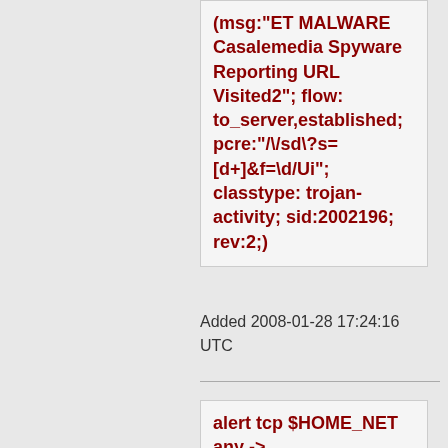(msg:"ET MALWARE Casalemedia Spyware Reporting URL Visited2"; flow: to_server,established; pcre:"/\/sd\?s=[d+]&f=\d/Ui"; classtype: trojan-activity; sid:2002196; rev:2;)
Added 2008-01-28 17:24:16 UTC
alert tcp $HOME_NET any -> $EXTERNAL_NET $HTTP_PORTS (msg:"ET MALWARE Casalemedia